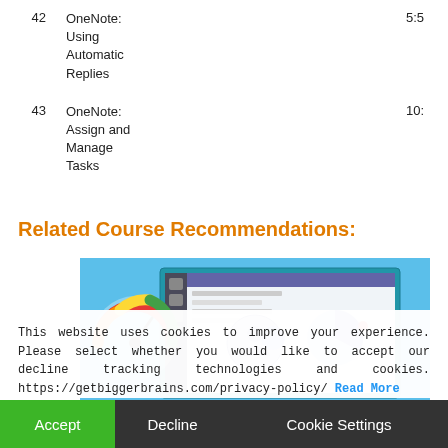| # | Title | Duration |
| --- | --- | --- |
| 42 | OneNote: Using Automatic Replies | 5:5 |
| 43 | OneNote: Assign and Manage Tasks | 10: |
Related Course Recommendations:
[Figure (screenshot): Screenshot showing a Microsoft Teams application interface with a colorful gauge/meter icon and a Teams chat window, partially obscured by a cookie consent overlay. Microsoft Teams label visible at bottom.]
This website uses cookies to improve your experience. Please select whether you would like to accept our decline tracking technologies and cookies. https://getbiggerbrains.com/privacy-policy/ Read More
Accept   Decline   Cookie Settings